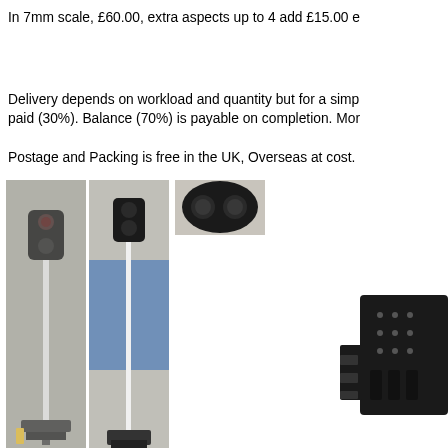In 7mm scale, £60.00, extra aspects up to 4 add £15.00 e
Delivery depends on workload and quantity but for a simp paid (30%). Balance (70%) is payable on completion. Mor
Postage and Packing is free in the UK, Overseas at cost.
[Figure (photo): Railway signal on a tall white pole, photographed against a grey speckled background]
[Figure (photo): Railway signal on a tall white pole, photographed against a blue/grey background]
[Figure (photo): Close-up of a circular signal head showing two black lenses/aspects]
[Figure (photo): Black electronic/mechanical component, partially visible at right edge of page]